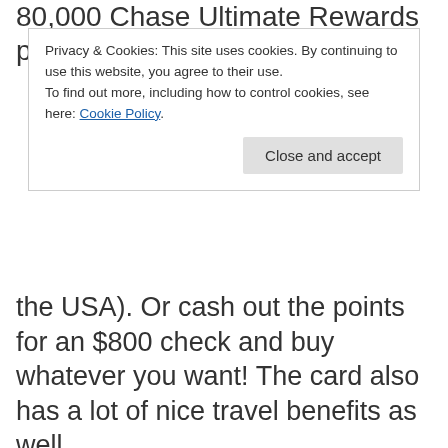80,000 Chase Ultimate Rewards points that can be
Privacy & Cookies: This site uses cookies. By continuing to use this website, you agree to their use.
To find out more, including how to control cookies, see here: Cookie Policy
Close and accept
the USA). Or cash out the points for an $800 check and buy whatever you want! The card also has a lot of nice travel benefits as well.